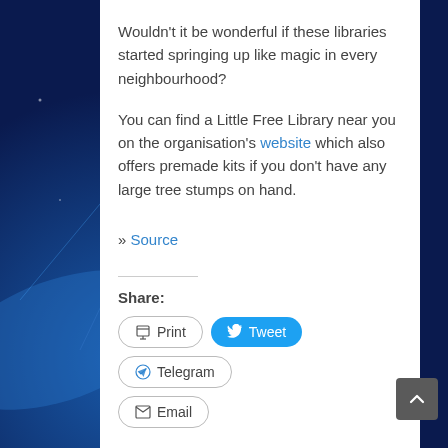Wouldn't it be wonderful if these libraries started springing up like magic in every neighbourhood?
You can find a Little Free Library near you on the organisation's website which also offers premade kits if you don't have any large tree stumps on hand.
» Source
Share:
Print  Tweet  Telegram  Email